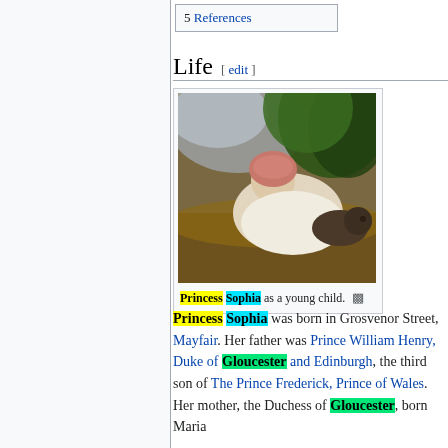5 References
Life [ edit ]
[Figure (photo): Oil painting of Princess Sophia as a young child, lying on the ground wearing white clothing and a pink bonnet, with a small dark-colored dog beside her, set against a landscape background.]
Princess Sophia as a young child.
Princess Sophia was born in Grosvenor Street, Mayfair. Her father was Prince William Henry, Duke of Gloucester and Edinburgh, the third son of The Prince Frederick, Prince of Wales. Her mother, the Duchess of Gloucester, born Maria